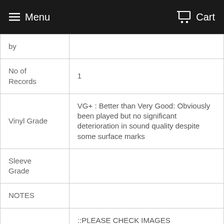Menu   Cart
| by |  |
| No of Records | 1 |
| Vinyl Grade | VG+ : Better than Very Good: Obviously been played but no significant deterioration in sound quality despite some surface marks |
| Sleeve Grade |  |
| NOTES |  |
|  | :::PLEASE CHECK IMAGES CAREFULLY::: |